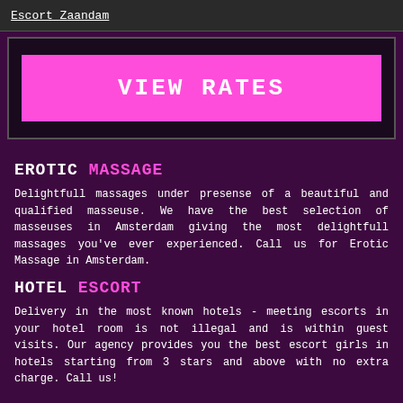Escort Zaandam
[Figure (other): Dark banner box with pink 'VIEW RATES' button]
EROTIC MASSAGE
Delightfull massages under presense of a beautiful and qualified masseuse. We have the best selection of masseuses in Amsterdam giving the most delightfull massages you've ever experienced. Call us for Erotic Massage in Amsterdam.
HOTEL ESCORT
Delivery in the most known hotels - meeting escorts in your hotel room is not illegal and is within guest visits. Our agency provides you the best escort girls in hotels starting from 3 stars and above with no extra charge. Call us!